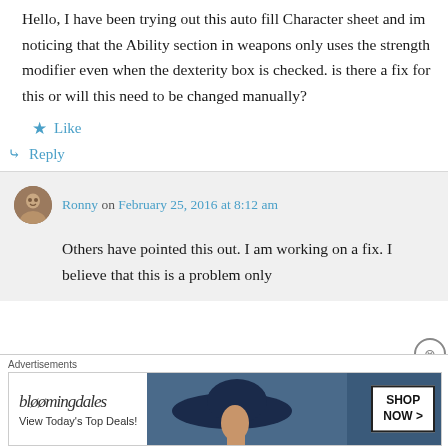Hello, I have been trying out this auto fill Character sheet and im noticing that the Ability section in weapons only uses the strength modifier even when the dexterity box is checked. is there a fix for this or will this need to be changed manually?
Like
Reply
Ronny on February 25, 2016 at 8:12 am
Others have pointed this out. I am working on a fix. I believe that this is a problem only
[Figure (other): Bloomingdale's advertisement banner with woman wearing large hat and Shop Now button]
Advertisements